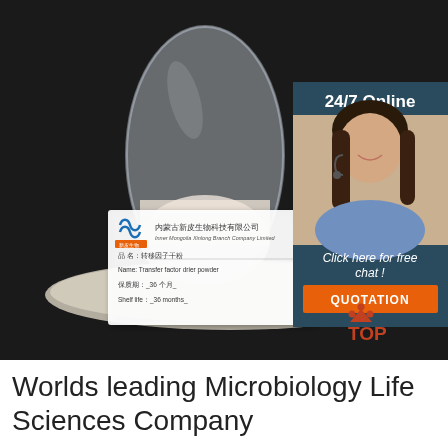[Figure (photo): Product photo of a glass bottle filled with white/cream powder (transfer factor dried powder) on a plate, with a company label card in front showing Inner Mongolia Xinlong Branch Company Limited branding, product name in Chinese and English. Overlay shows a 24/7 Online chat box with a woman wearing a headset, a 'Click here for free chat!' message, and an orange QUOTATION button. A TOP badge appears at the bottom right.]
Worlds leading Microbiology Life Sciences Company